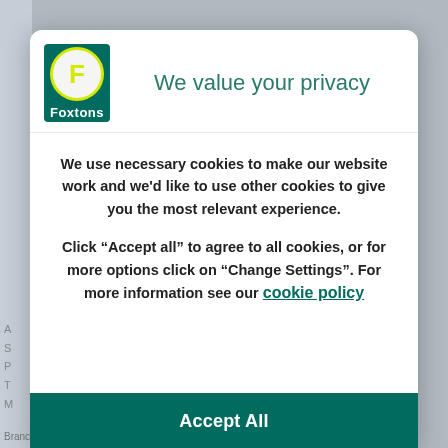[Figure (logo): Foxtons logo: green rectangle with circular yellow-bordered badge containing yellow letter F, with 'Foxtons' text in white below]
We value your privacy
We use necessary cookies to make our website work and we'd like to use other cookies to give you the most relevant experience.
Click “Accept all” to agree to all cookies, or for more options click on “Change Settings”. For more information see our cookie policy
Accept All